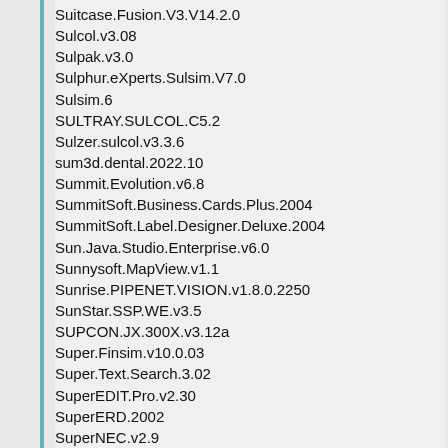Suitcase.Fusion.V3.V14.2.0
Sulcol.v3.08
Sulpak.v3.0
Sulphur.eXperts.Sulsim.V7.0
Sulsim.6
SULTRAY.SULCOL.C5.2
Sulzer.sulcol.v3.3.6
sum3d.dental.2022.10
Summit.Evolution.v6.8
SummitSoft.Business.Cards.Plus.2004
SummitSoft.Label.Designer.Deluxe.2004
Sun.Java.Studio.Enterprise.v6.0
Sunnysoft.MapView.v1.1
Sunrise.PIPENET.VISION.v1.8.0.2250
SunStar.SSP.WE.v3.5
SUPCON.JX.300X.v3.12a
Super.Finsim.v10.0.03
Super.Text.Search.3.02
SuperEDIT.Pro.v2.30
SuperERD.2002
SuperNEC.v2.9
SuperOverlay.3.0.6.build.06.10.11
SuperPro.Designer.v6.0
SuperSpice.v2.2.154
supervisioncam.v3.03